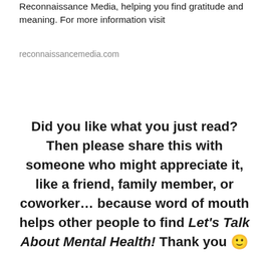Reconnaissance Media, helping you find gratitude and meaning. For more information visit
reconnaissancemedia.com
Did you like what you just read? Then please share this with someone who might appreciate it, like a friend, family member, or coworker… because word of mouth helps other people to find Let's Talk About Mental Health! Thank you 🙂